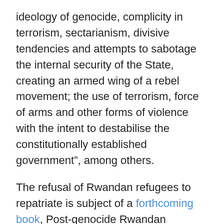ideology of genocide, complicity in terrorism, sectarianism, divisive tendencies and attempts to sabotage the internal security of the State, creating an armed wing of a rebel movement; the use of terrorism, force of arms and other forms of violence with the intent to destabilise the constitutionally established government", among others.
The refusal of Rwandan refugees to repatriate is subject of a forthcoming book, Post-genocide Rwandan Refugees...Why They Refuse to Return ‘Home’: Myths and Realities, by Masako Yonekawa, a UNHCR field worker in the DRC. This book highlights the repeated refusal of post-genocide Rwandan refugees to return ‘home’ and why even high-profile government officials continue to flee to